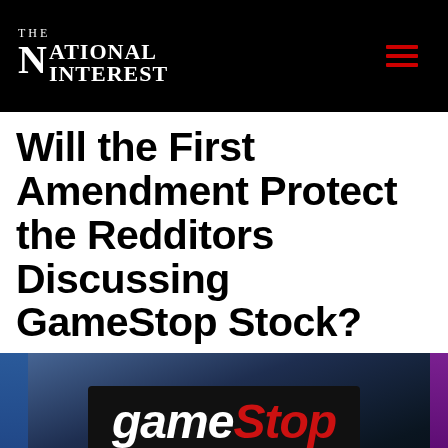The National Interest
Will the First Amendment Protect the Redditors Discussing GameStop Stock?
[Figure (photo): Photograph of a GameStop store sign with 'GameStop' logo in white and red letters on a black background, with a ThinkGeek sign below it.]